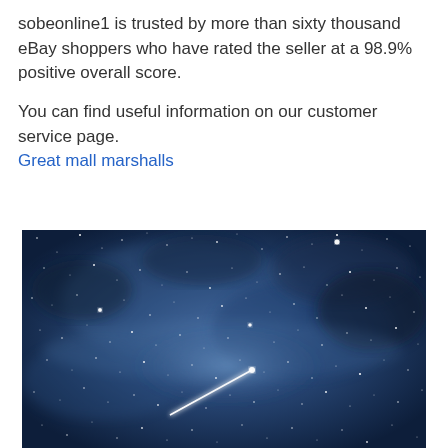sobeonline1 is trusted by more than sixty thousand eBay shoppers who have rated the seller at a 98.9% positive overall score.

You can find useful information on our customer service page.
Great mall marshalls
[Figure (photo): Night sky photograph showing the Milky Way galaxy with numerous stars and a bright meteor/shooting star streak diagonally across the image. The image has a deep blue color tone.]